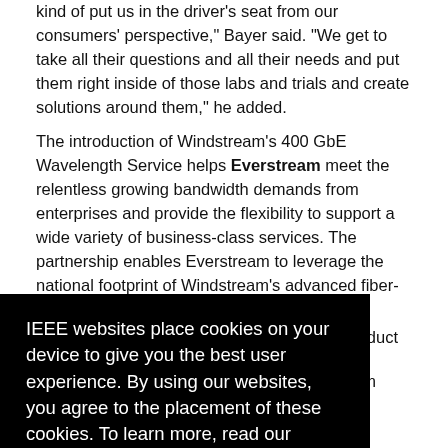kind of put us in the driver's seat from our consumers' perspective," Bayer said. "We get to take all their questions and all their needs and put them right inside of those labs and trials and create solutions around them," he added.
The introduction of Windstream's 400 GbE Wavelength Service helps Everstream meet the relentless growing bandwidth demands from enterprises and provide the flexibility to support a wide variety of business-class services. The partnership enables Everstream to leverage the national footprint of Windstream's advanced fiber-
[Figure (screenshot): Cookie consent overlay on a black background with text: 'IEEE websites place cookies on your device to give you the best user experience. By using our websites, you agree to the placement of these cookies. To learn more, read our Privacy Policy.' with an 'Accept & Close' button. Partially visible article text appears on the right side of the overlay.]
they need."